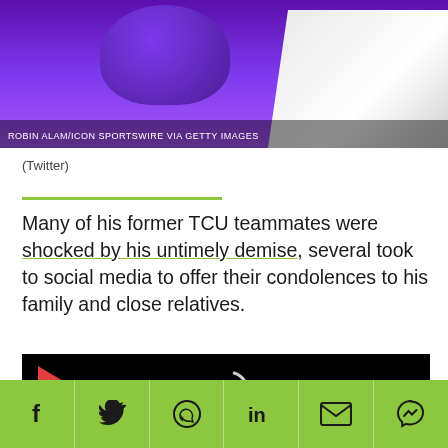[Figure (photo): Football player in purple TCU jersey with white-sleeved opponent, photo credit: ROBIN ALAM/ICON SPORTSWIRE VIA GETTY IMAGES]
(Twitter)
Many of his former TCU teammates were shocked by his untimely demise, several took to social media to offer their condolences to his family and close relatives.
[Figure (screenshot): Video player with black background showing a loading spinner and red play button icon in top left]
Social share bar with Facebook, Twitter, WhatsApp, LinkedIn, Email, and Messenger icons